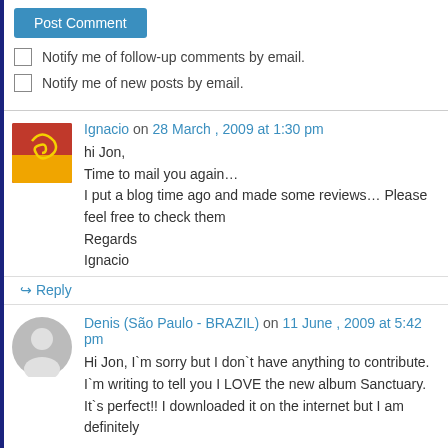Post Comment
Notify me of follow-up comments by email.
Notify me of new posts by email.
Ignacio on 28 March , 2009 at 1:30 pm
hi Jon,
Time to mail you again…
I put a blog time ago and made some reviews… Please feel free to check them
Regards
Ignacio
↳ Reply
Denis (São Paulo - BRAZIL) on 11 June , 2009 at 5:42 pm
Hi Jon, I`m sorry but I don`t have anything to contribute. I`m writing to tell you I LOVE the new album Sanctuary. It`s perfect!! I downloaded it on the internet but I am definitely